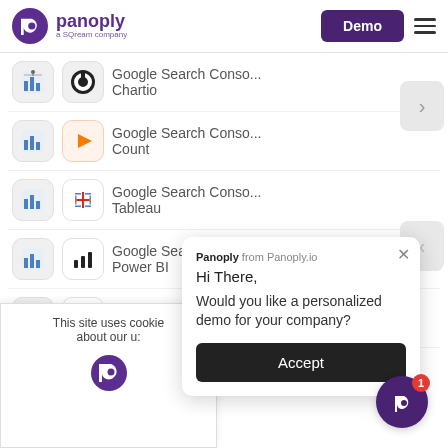[Figure (screenshot): Panoply website header with logo, Demo button, and hamburger menu]
Google Search Conso... Chartio
Google Search Conso... Count
Google Search Conso... Tableau
Google Search Conso... Power BI
Go... Lo...
This site uses cookie about our u:
Panoply from Panoply.io
Hi There,
Would you like a personalized demo for your company?
Accept